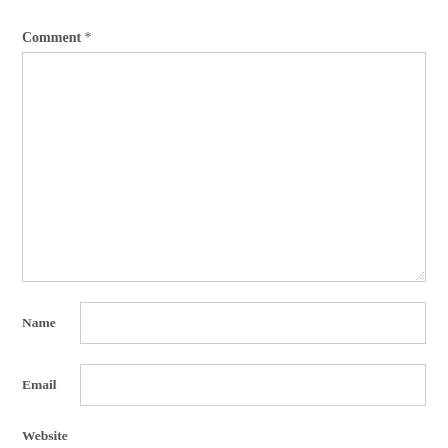Comment *
[Figure (other): Large empty textarea for comment input with resize handle at bottom-right corner]
Name
[Figure (other): Single-line text input field for Name]
Email
[Figure (other): Single-line text input field for Email]
Website